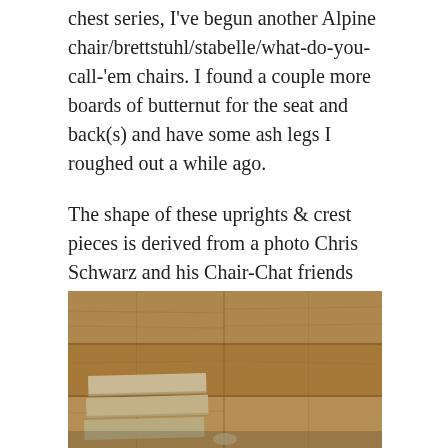chest series, I've begun another Alpine chair/brettstuhl/stabelle/what-do-you-call-'em chairs. I found a couple more boards of butternut for the seat and back(s) and have some ash legs I roughed out a while ago.
The shape of these uprights & crest pieces is derived from a photo Chris Schwarz and his Chair-Chat friends Rudy & Klaus sent me. The carvings I made up – and it's weird to have chip carving mixed with gouge-cut carvings. But I wanted to fill the spaces as quickly as I could. So that's what I ended up with.
[Figure (photo): Photo of wooden boards and planks in a workshop, showing butternut boards laid out on a wooden surface with planked walls in the background]